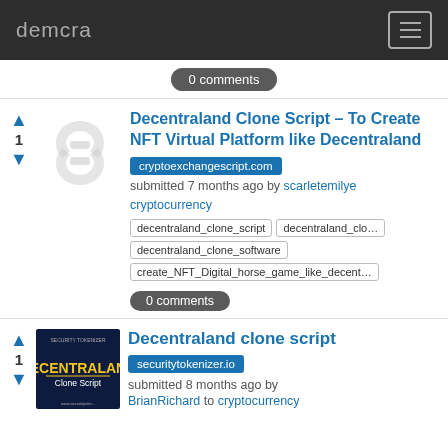demcra
0 comments
Decentraland Clone Script – To Create NFT Virtual Platform like Decentraland
cryptoexchangescript.com
submitted 7 months ago by scarletemilye
cryptocurrency
decentraland_clone_script
decentraland_clo
decentraland_clone_software
create_NFT_Digital_horse_game_like_decent
0 comments
Decentraland clone script
securitytokenizer.io
submitted 8 months ago by BrianRichard to cryptocurrency